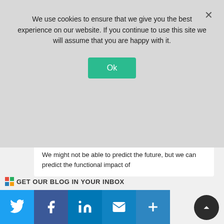We use cookies to ensure that we give you the best experience on our website. If you continue to use this site we will assume that you are happy with it.
[Figure (screenshot): Video player thumbnail showing a spreadsheet/data tool with a blue play button overlay and playback controls showing 48:26 timestamp]
Golden Heli... @Golden... · Aug 19  We might not be able to predict the future, but we can predict the functional impact of ...
GET OUR BLOG IN YOUR INBOX